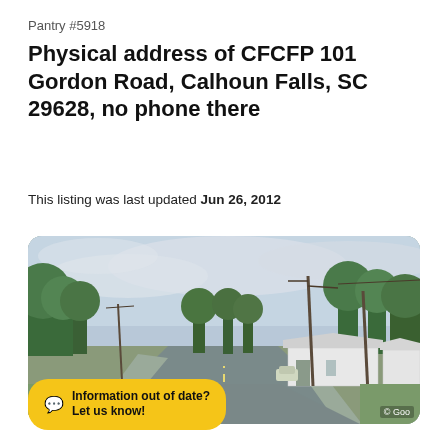Pantry #5918
Physical address of CFCFP 101 Gordon Road, Calhoun Falls, SC 29628, no phone there
This listing was last updated Jun 26, 2012
[Figure (photo): Street view photo of Gordon Road in Calhoun Falls, SC showing a rural road with utility poles, trees, and small white buildings on the right side.]
Information out of date? Let us know!